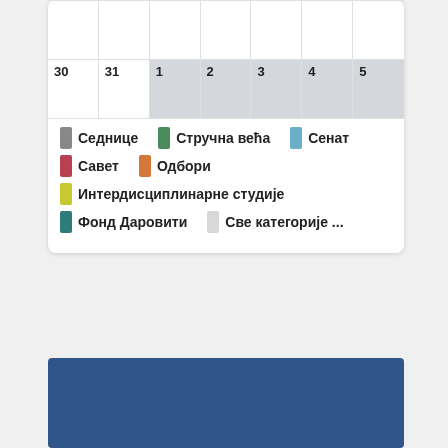|  |  | 1 | 2 | 3 | 4 | 5 |
| --- | --- | --- | --- | --- | --- | --- |
| 30 | 31 |  |  |  |  |  |
Седнице | Стручна већа | Сенат
Савет | Одбори
Интердисциплинарне студије
Фонд Даровити | Све категорије ...
[Figure (other): Dark blue rectangular banner/image block at the bottom of the page]